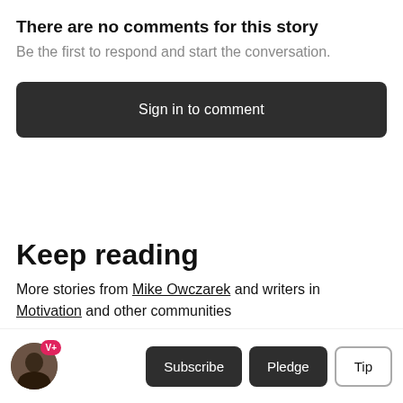There are no comments for this story
Be the first to respond and start the conversation.
Sign in to comment
Keep reading
More stories from Mike Owczarek and writers in Motivation and other communities
[Figure (other): User avatar with V+ badge and Subscribe, Pledge, Tip buttons in bottom bar]